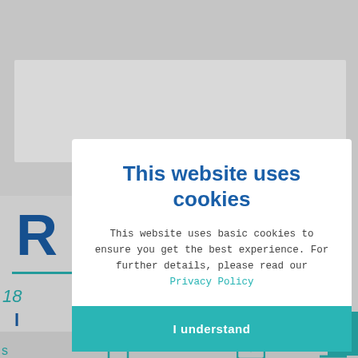[Figure (screenshot): Background website page showing partial content with 'R' heading, teal underline, number 18, navigation bar with phone and mail icons, and a cookie consent modal dialog overlay]
This website uses cookies
This website uses basic cookies to ensure you get the best experience. For further details, please read our Privacy Policy
I understand